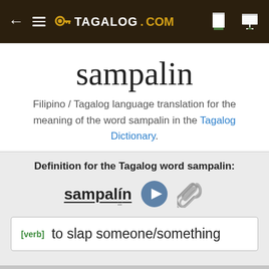TAGALOG.COM
sampalin
Filipino / Tagalog language translation for the meaning of the word sampalin in the Tagalog Dictionary.
Definition for the Tagalog word sampalin:
sampalín
[verb]  to slap someone/something